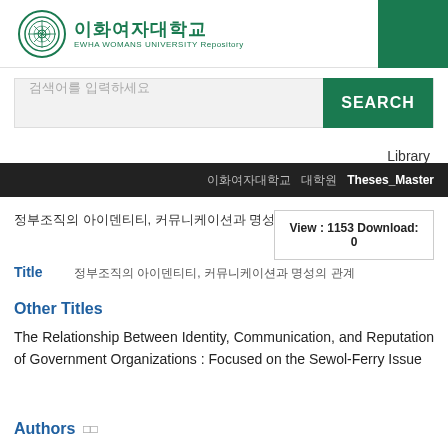[Figure (logo): Ewha Womans University logo with circular emblem and Korean/English text]
이화여자대학교 EWHA WOMANS UNIVERSITY Repository
검색어를 입력하세요 SEARCH
Library
이화여자대학교 대학원 Theses_Master
정부조직의 아이덴티티, 커뮤니케이션과 명성의 관계
View : 1153 Download: 0
Title 정부조직의 아이덴티티, 커뮤니케이션과 명성의 관계
Other Titles
The Relationship Between Identity, Communication, and Reputation of Government Organizations : Focused on the Sewol-Ferry Issue
Authors